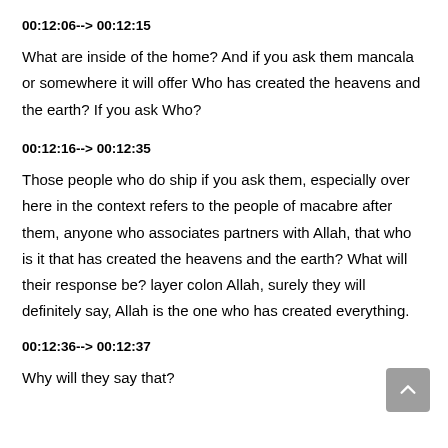00:12:06--> 00:12:15
What are inside of the home? And if you ask them mancala or somewhere it will offer Who has created the heavens and the earth? If you ask Who?
00:12:16--> 00:12:35
Those people who do ship if you ask them, especially over here in the context refers to the people of macabre after them, anyone who associates partners with Allah, that who is it that has created the heavens and the earth? What will their response be? layer colon Allah, surely they will definitely say, Allah is the one who has created everything.
00:12:36--> 00:12:37
Why will they say that?